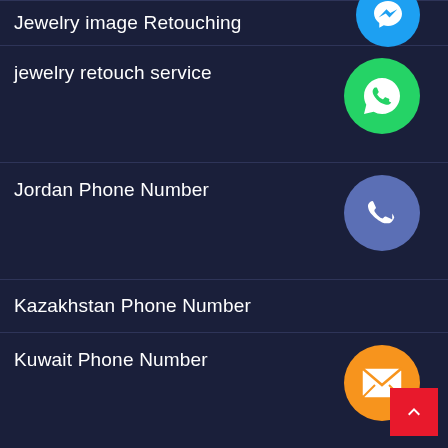Jewelry image Retouching
jewelry retouch service
Jordan Phone Number
Kazakhstan Phone Number
Kuwait Phone Number
Latvia Phone Number
Lebanon Phone Number
Lithuania Phone Number
Logo Designs service
Luxembourg Phone Number